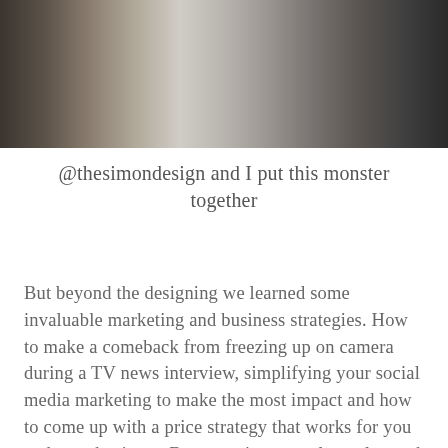[Figure (photo): Partial photo of a person near a large metal tool cabinet or workbench with pegboard backing and a wooden countertop, industrial/workshop setting.]
@thesimondesign and I put this monster together
But beyond the designing we learned some invaluable marketing and business strategies. How to make a comeback from freezing up on camera during a TV news interview, simplifying your social media marketing to make the most impact and how to come up with a price strategy that works for you and your business. But more importantly we learned that on the journey to a booming business